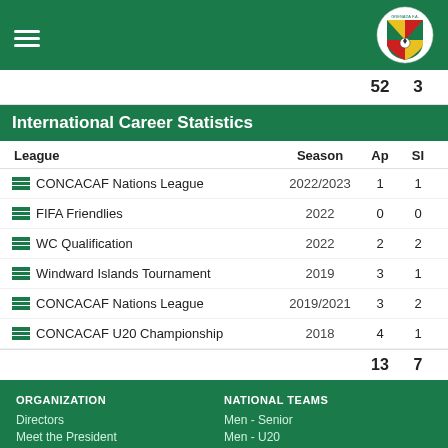Grenada FA header with hamburger menu and shield logo
|  |  | 52 | 3 |
| --- | --- | --- | --- |
International Career Statistics
| League | Season | Ap | SI |
| --- | --- | --- | --- |
| CONCACAF Nations League | 2022/2023 | 1 | 1 |
| FIFA Friendlies | 2022 | 0 | 0 |
| WC Qualification | 2022 | 2 | 2 |
| Windward Islands Tournament | 2019 | 3 | 1 |
| CONCACAF Nations League | 2019/2021 | 3 | 2 |
| CONCACAF U20 Championship | 2018 | 4 | 1 |
|  |  | 13 | 7 |
ORGANIZATION: Directors, Meet the President | NATIONAL TEAMS: Men - Senior, Men - U20